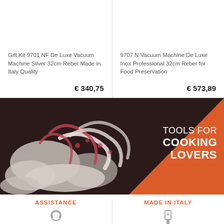Gift Kit 9701 NF De Luxe Vacuum Machine Silver 32cm Reber Made in Italy Quality
€ 340,75
9707 N Vacuum Machine De Luxe Inox Professional 32cm Reber for Food Preservation
€ 573,89
[Figure (photo): Close-up photo of fresh squid/seafood with tentacles, white and purple coloring, on a dark background. Orange triangle overlay in top-right corner with text 'TOOLS FOR COOKING LOVERS']
TOOLS FOR COOKING LOVERS
ASSISTANCE
MADE IN ITALY